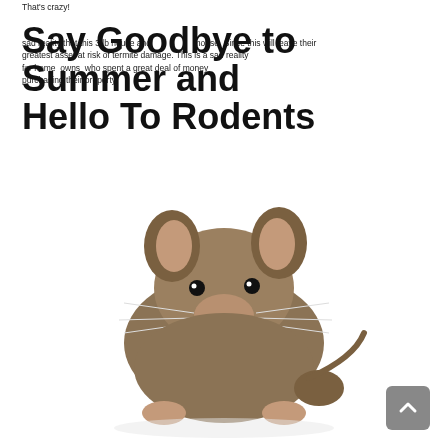That's crazy!
Say Goodbye to Summer and Hello To Rodents
sad reality that this 3 lb house and mouse. Since this will leave their greatest asset at risk of termite damage. This is a sad reality for home owners who spent a great deal of money purchasing their property.
[Figure (photo): Close-up photo of a brown house mouse on a white background, facing the camera with whiskers visible.]